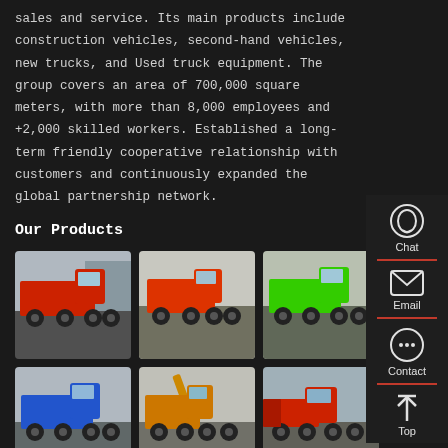sales and service. Its main products include construction vehicles, second-hand vehicles, new trucks, and Used truck equipment. The group covers an area of 700,000 square meters, with more than 8,000 employees and +2,000 skilled workers. Established a long-term friendly cooperative relationship with customers and continuously expanded the global partnership network.
Our Products
[Figure (photo): Red large dump truck parked in a lot]
[Figure (photo): Red/orange dump truck in outdoor area]
[Figure (photo): Green dump truck]
[Figure (photo): Blue dump truck]
[Figure (photo): Orange crane/truck vehicle]
[Figure (photo): Red tractor truck]